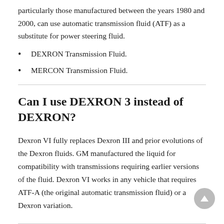particularly those manufactured between the years 1980 and 2000, can use automatic transmission fluid (ATF) as a substitute for power steering fluid.
DEXRON Transmission Fluid.
MERCON Transmission Fluid.
Can I use DEXRON 3 instead of DEXRON?
Dexron VI fully replaces Dexron III and prior evolutions of the Dexron fluids. GM manufactured the liquid for compatibility with transmissions requiring earlier versions of the fluid. Dexron VI works in any vehicle that requires ATF-A (the original automatic transmission fluid) or a Dexron variation.